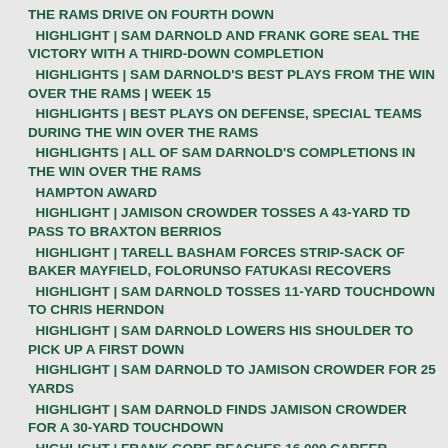THE RAMS DRIVE ON FOURTH DOWN
HIGHLIGHT | SAM DARNOLD AND FRANK GORE SEAL THE VICTORY WITH A THIRD-DOWN COMPLETION
HIGHLIGHTS | SAM DARNOLD'S BEST PLAYS FROM THE WIN OVER THE RAMS | WEEK 15
HIGHLIGHTS | BEST PLAYS ON DEFENSE, SPECIAL TEAMS DURING THE WIN OVER THE RAMS
HIGHLIGHTS | ALL OF SAM DARNOLD'S COMPLETIONS IN THE WIN OVER THE RAMS
HAMPTON AWARD
HIGHLIGHT | JAMISON CROWDER TOSSES A 43-YARD TD PASS TO BRAXTON BERRIOS
HIGHLIGHT | TARELL BASHAM FORCES STRIP-SACK OF BAKER MAYFIELD, FOLORUNSO FATUKASI RECOVERS
HIGHLIGHT | SAM DARNOLD TOSSES 11-YARD TOUCHDOWN TO CHRIS HERNDON
HIGHLIGHT | SAM DARNOLD LOWERS HIS SHOULDER TO PICK UP A FIRST DOWN
HIGHLIGHT | SAM DARNOLD TO JAMISON CROWDER FOR 25 YARDS
HIGHLIGHT | SAM DARNOLD FINDS JAMISON CROWDER FOR A 30-YARD TOUCHDOWN
HIGHLIGHT | FRANK GORE REACHES 16,000 CAREER RUSHING YARDS
HIGHLIGHT | TARELL BASHAM FORCES STRIP-SACK, JOHN FRANKLIN-